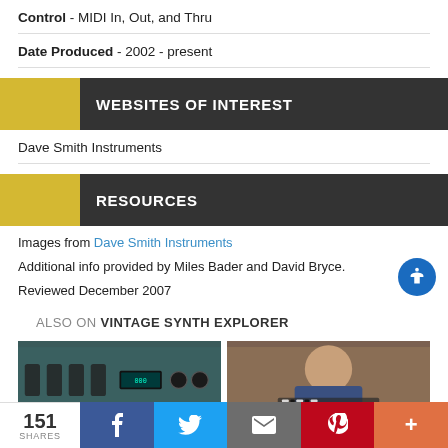Control - MIDI In, Out, and Thru
Date Produced - 2002 - present
WEBSITES OF INTEREST
Dave Smith Instruments
RESOURCES
Images from Dave Smith Instruments
Additional info provided by Miles Bader and David Bryce.
Reviewed December 2007
ALSO ON VINTAGE SYNTH EXPLORER
[Figure (photo): Two thumbnail images: left shows a synthesizer front panel, right shows a man at a keyboard]
151 SHARES | Facebook | Twitter | Email | Pinterest | More